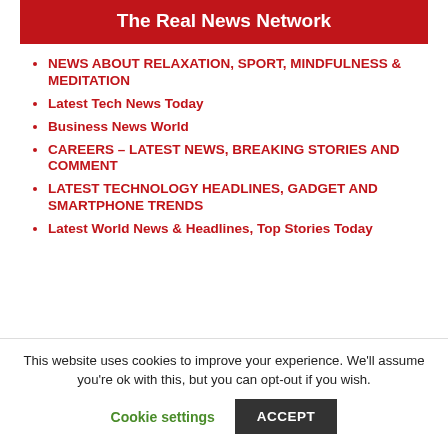The Real News Network
NEWS ABOUT RELAXATION, SPORT, MINDFULNESS & MEDITATION
Latest Tech News Today
Business News World
CAREERS – LATEST NEWS, BREAKING STORIES AND COMMENT
LATEST TECHNOLOGY HEADLINES, GADGET AND SMARTPHONE TRENDS
Latest World News & Headlines, Top Stories Today
This website uses cookies to improve your experience. We'll assume you're ok with this, but you can opt-out if you wish.
Cookie settings | ACCEPT